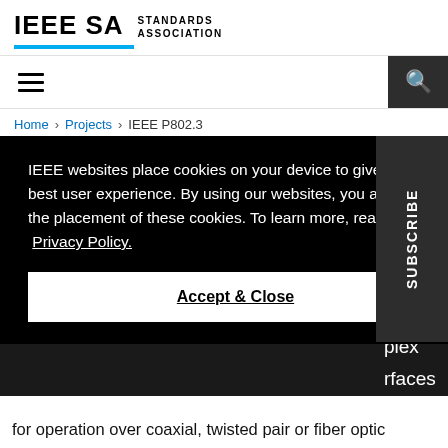[Figure (logo): IEEE SA Standards Association logo with blue underline bar]
[Figure (screenshot): Navigation bar with hamburger menu icon on left and search icon on dark background on right]
Home > Projects > IEEE P802.3
IEEE websites place cookies on your device to give you the best user experience. By using our websites, you agree to the placement of these cookies. To learn more, read our Privacy Policy.
Accept & Close
SUBSCRIBE
for operation over coaxial, twisted pair or fiber optic